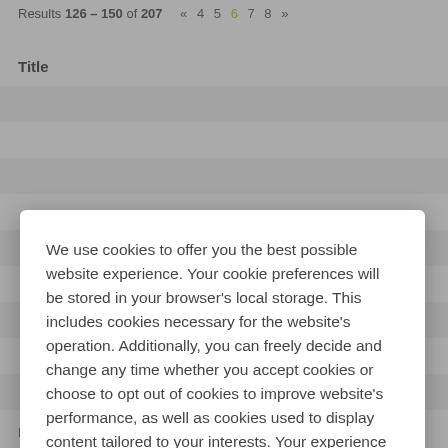Results 126 – 150 of 207  «  4  5  6  7  8  »
Title
We use cookies to offer you the best possible website experience. Your cookie preferences will be stored in your browser's local storage. This includes cookies necessary for the website's operation. Additionally, you can freely decide and change any time whether you accept cookies or choose to opt out of cookies to improve website's performance, as well as cookies used to display content tailored to your interests. Your experience of the site and the services we are able to offer may be impacted if you do not accept all cookies.
Modify Cookie Preferences
Accept All Cookies
Manufacturing